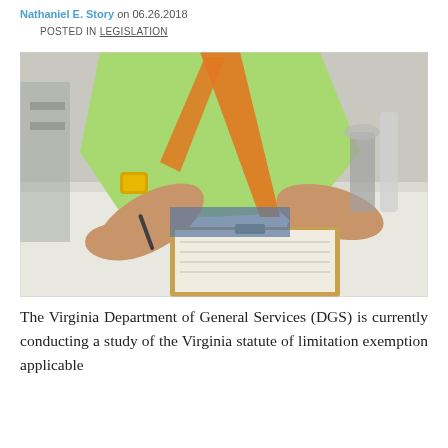Nathaniel E. Story on 06.26.2018
POSTED IN LEGISLATION
[Figure (photo): Construction worker wearing a green high-visibility vest with orange straps, leaning over a white table and writing on a clipboard with a pen, in an industrial or construction site setting.]
The Virginia Department of General Services (DGS) is currently conducting a study of the Virginia statute of limitation exemption applicable